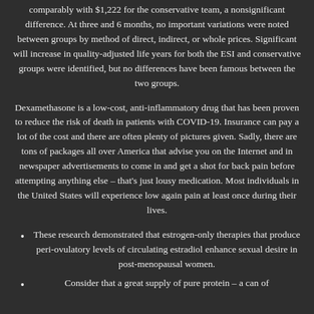comparably with $1,222 for the conservative team, a nonsignificant difference. At three and 6 months, no important variations were noted between groups by method of direct, indirect, or whole prices. Significant will increase in quality-adjusted life years for both the ESI and conservative groups were identified, but no differences have been famous between the two groups.
Dexamethasone is a low-cost, anti-inflammatory drug that has been proven to reduce the risk of death in patients with COVID-19. Insurance can pay a lot of the cost and there are often plenty of pictures given. Sadly, there are tons of packages all over America that advise you on the Internet and in newspaper advertisements to come in and get a shot for back pain before attempting anything else – that's just lousy medication. Most individuals in the United States will experience low again pain at least once during their lives.
These research demonstrated that estrogen-only therapies that produce peri-ovulatory levels of circulating estradiol enhance sexual desire in post-menopausal women.
Consider that a great supply of pure protein – a can of